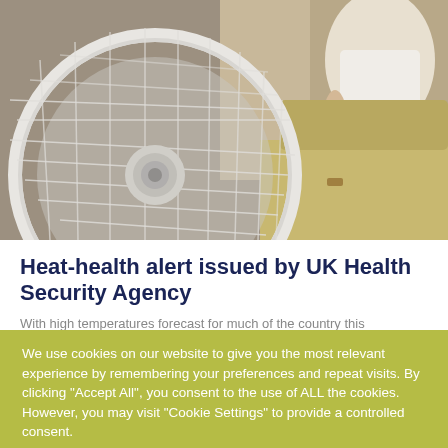[Figure (photo): Close-up photo of a white electric desk fan in the foreground with a blurred person sitting on a sofa in the background]
Heat-health alert issued by UK Health Security Agency
With high temperatures forecast for much of the country this
We use cookies on our website to give you the most relevant experience by remembering your preferences and repeat visits. By clicking "Accept All", you consent to the use of ALL the cookies. However, you may visit "Cookie Settings" to provide a controlled consent.